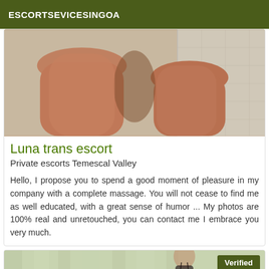ESCORTSEVICESINGOA
[Figure (photo): Close-up photo of a person's legs against a tiled background]
Luna trans escort
Private escorts Temescal Valley
Hello, I propose you to spend a good moment of pleasure in my company with a complete massage. You will not cease to find me as well educated, with a great sense of humor ... My photos are 100% real and unretouched, you can contact me I embrace you very much.
[Figure (photo): Partial photo of a person with a 'Verified' badge overlay in top-right corner]